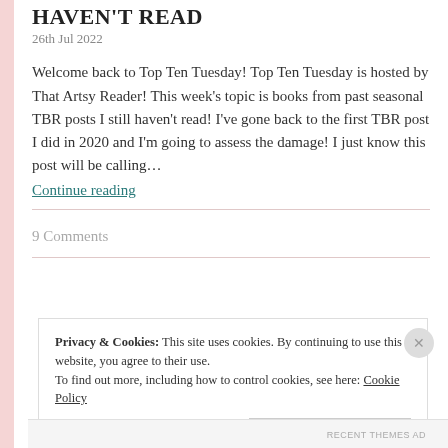HAVEN'T READ
26th Jul 2022
Welcome back to Top Ten Tuesday! Top Ten Tuesday is hosted by That Artsy Reader! This week's topic is books from past seasonal TBR posts I still haven't read! I've gone back to the first TBR post I did in 2020 and I'm going to assess the damage! I just know this post will be calling…
Continue reading
9 Comments
Privacy & Cookies: This site uses cookies. By continuing to use this website, you agree to their use.
To find out more, including how to control cookies, see here: Cookie Policy
Close and accept